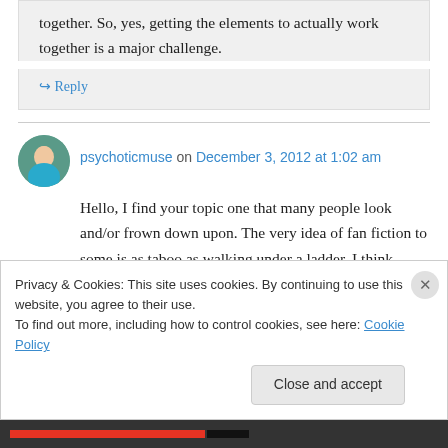together. So, yes, getting the elements to actually work together is a major challenge.
↳ Reply
psychoticmuse on December 3, 2012 at 1:02 am
Hello, I find your topic one that many people look and/or frown down upon. The very idea of fan fiction to some is as taboo as walking under a ladder. I think everything that you have said is
Privacy & Cookies: This site uses cookies. By continuing to use this website, you agree to their use.
To find out more, including how to control cookies, see here: Cookie Policy
Close and accept